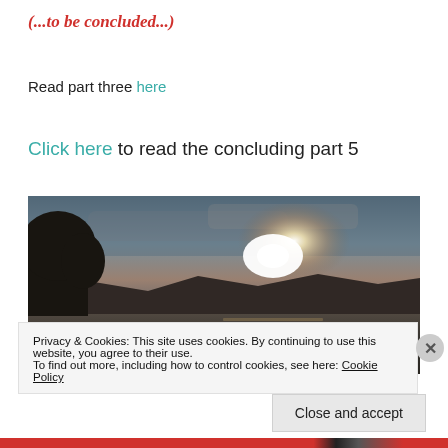(...to be concluded...)
Read part three here
Click here to read the concluding part 5
[Figure (photo): A sunset or sunrise over a calm lake with silhouetted trees on the left and mountains in the background. The sky is dramatic with warm glowing light behind clouds.]
Privacy & Cookies: This site uses cookies. By continuing to use this website, you agree to their use.
To find out more, including how to control cookies, see here: Cookie Policy
Close and accept